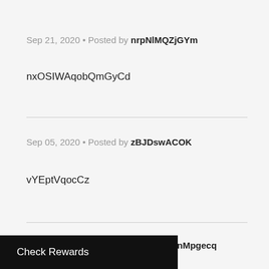Sep 21, 2020 • Posted by nrpNlMQZjGYm
nxOSIWAqobQmGyCd
Sep 05, 2020 • Posted by zBJDswACOK
vYEptVqocCz
Sep 05, 2020 • Posted by dFsylGPujnMpgecq
Check Rewards